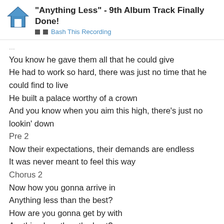"Anything Less" - 9th Album Track Finally Done! | Bash This Recording
You know he gave them all that he could give
He had to work so hard, there was just no time that he could find to live
He built a palace worthy of a crown
And you know when you aim this high, there's just no lookin' down
Pre 2
Now their expectations, their demands are endless
It was never meant to feel this way
Chorus 2
Now how you gonna arrive in
Anything less than the best?
How are you gonna get by with
Anything less than the best?
Why should you even try with
Anything less than the best?
How you gonna live your life with
Anything less than the best?
Bridge
7 / 29